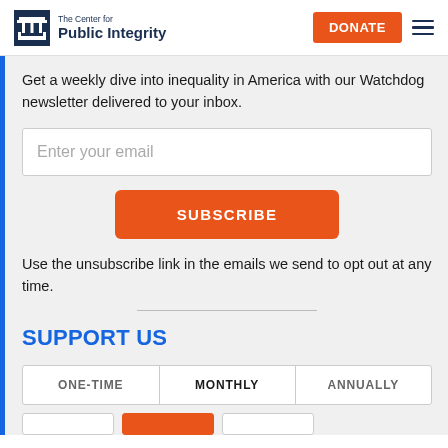The Center for Public Integrity | DONATE
Get a weekly dive into inequality in America with our Watchdog newsletter delivered to your inbox.
Enter your email
SUBSCRIBE
Use the unsubscribe link in the emails we send to opt out at any time.
SUPPORT US
| ONE-TIME | MONTHLY | ANNUALLY |
| --- | --- | --- |